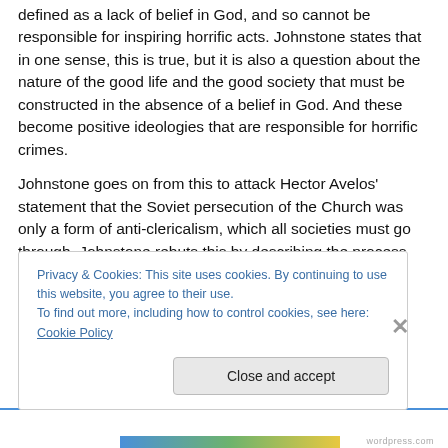defined as a lack of belief in God, and so cannot be responsible for inspiring horrific acts. Johnstone states that in one sense, this is true, but it is also a question about the nature of the good life and the good society that must be constructed in the absence of a belief in God. And these become positive ideologies that are responsible for horrific crimes.
Johnstone goes on from this to attack Hector Avelos' statement that the Soviet persecution of the Church was only a form of anti-clericalism, which all societies must go through. Johnstone rebuts this by describing the process
Privacy & Cookies: This site uses cookies. By continuing to use this website, you agree to their use.
To find out more, including how to control cookies, see here: Cookie Policy